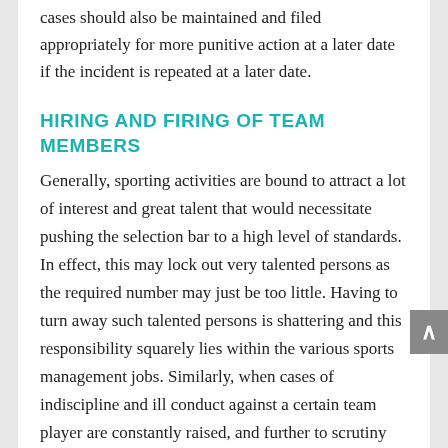cases should also be maintained and filed appropriately for more punitive action at a later date if the incident is repeated at a later date.
HIRING AND FIRING OF TEAM MEMBERS
Generally, sporting activities are bound to attract a lot of interest and great talent that would necessitate pushing the selection bar to a high level of standards. In effect, this may lock out very talented persons as the required number may just be too little. Having to turn away such talented persons is shattering and this responsibility squarely lies within the various sports management jobs. Similarly, when cases of indiscipline and ill conduct against a certain team player are constantly raised, and further to scrutiny and recommendation from the disciplinary committee, it is among the job